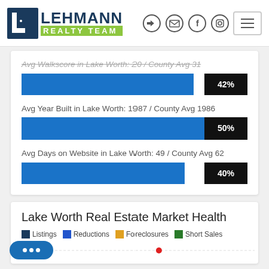[Figure (logo): Lehmann Realty Team logo with blue L icon and green 'Realty Team' text]
Avg Walkscore in Lake Worth: 20 / County Avg 31
[Figure (bar-chart): Walkscore comparison]
Avg Year Built in Lake Worth: 1987 / County Avg 1986
[Figure (bar-chart): Year Built comparison]
Avg Days on Website in Lake Worth: 49 / County Avg 62
[Figure (bar-chart): Days on Website comparison]
Lake Worth Real Estate Market Health
Listings  Reductions  Foreclosures  Short Sales
300